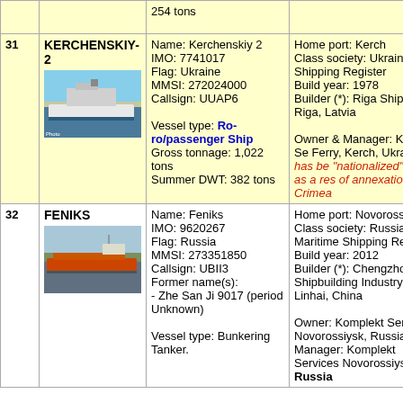| # | Name/Image | Details | Home/Owner |
| --- | --- | --- | --- |
|  |  | 254 tons |  |
| 31 | KERCHENSKIY-2 | Name: Kerchenskiy 2
IMO: 7741017
Flag: Ukraine
MMSI: 272024000
Callsign: UUAP6
Vessel type: Ro-ro/passenger Ship
Gross tonnage: 1,022 tons
Summer DWT: 382 tons | Home port: Kerch
Class society: Ukraine Shipping Register
Build year: 1978
Builder (*): Riga Shipyard - Riga, Latvia
Owner & Manager: Kerch Se Ferry, Kerch, Ukraine, has be "nationalized" by RF as a res of annexation the Crimea |
| 32 | FENIKS | Name: Feniks
IMO: 9620267
Flag: Russia
MMSI: 273351850
Callsign: UBII3
Former name(s): - Zhe San Ji 9017 (period Unknown)
Vessel type: Bunkering Tanker. | Home port: Novorossiysk
Class society: Russian Maritime Shipping Register
Build year: 2012
Builder (*): Chengzhou Shipbuilding Industry Linhai, China
Owner: Komplekt Services Novorossiysk, Russia
Manager: Komplekt Services Novorossiysk, Russia |